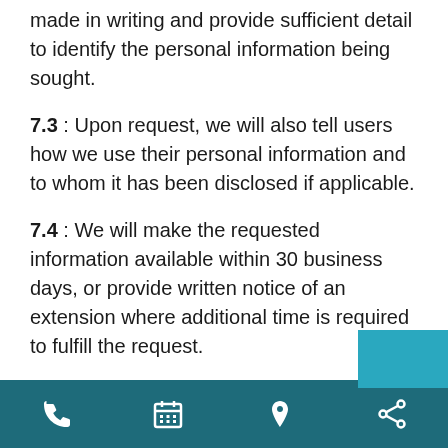made in writing and provide sufficient detail to identify the personal information being sought.
7.3 : Upon request, we will also tell users how we use their personal information and to whom it has been disclosed if applicable.
7.4 : We will make the requested information available within 30 business days, or provide written notice of an extension where additional time is required to fulfill the request.
7.5 : A minimal fee may be charged for providing access to personal information. Where a fee may apply, we will inform the user of the cost and request further direction from the user on whether or not we
phone | calendar | location | share